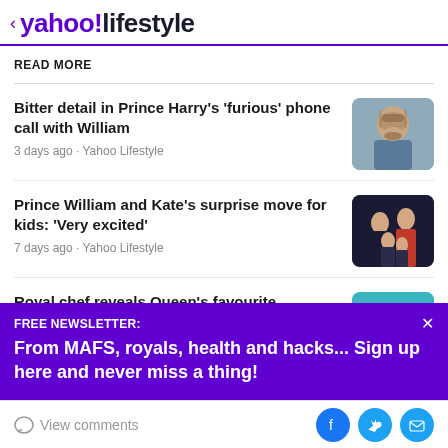< yahoo!lifestyle
READ MORE
Bitter detail in Prince Harry's 'furious' phone call with William
3 days ago · Yahoo Lifestyle
Prince William and Kate's surprise move for kids: 'Very excited'
7 days ago · Yahoo Lifestyle
Royal chef reveals Queen's favourite
FREE NEWSLETTER:
From MAFS, royals, health and hacks... Sign up here and never miss a thing!
View comments